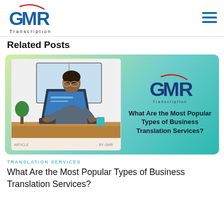[Figure (logo): GMR Transcription logo with blue and red arc design]
Related Posts
[Figure (illustration): Card with gradient background (yellow-green to teal) showing a person working at a laptop on the left, and GMR Transcription logo with the text 'What Are the Most Popular Types of Business Translation Services?' on the right]
TRANSLATION SERVICES
What Are the Most Popular Types of Business Translation Services?